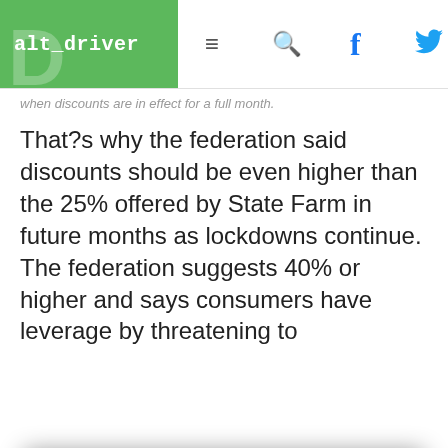alt_driver
when discounts are in effect for a full month.
That?s why the federation said discounts should be even higher than the 25% offered by State Farm in future months as lockdowns continue. The federation suggests 40% or higher and says consumers have leverage by threatening to
In accordance with our Privacy Policy, we may share with our parent company (PCH) and advertising partners an anonymized identifier that protects your privacy, provides advertising tailored to your interests and gives you access to advertising supported content. Data collected on one of our sites may be used on our other owned and operated sites, which sites are identified in our Privacy Policy. All of our sites are governed by the same Privacy Policy, and by proceeding to access this site, you are consenting to that Privacy Policy.